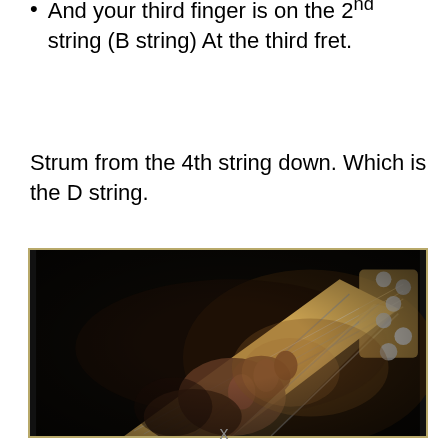And your third finger is on the 2nd string (B string) At the third fret.
Strum from the 4th string down. Which is the D string.
[Figure (photo): Close-up photo of a person's hand fretting a guitar neck, showing fingers pressing on strings near the body of the guitar, with tuning pegs visible on the right. Dark background.]
x